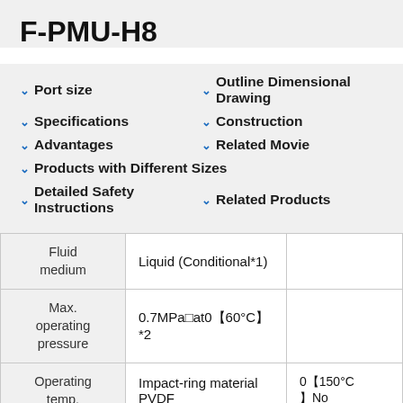F-PMU-H8
Port size
Outline Dimensional Drawing
Specifications
Construction
Advantages
Related Movie
Products with Different Sizes
Detailed Safety Instructions
Related Products
| Fluid medium | Liquid (Conditional*1) |  |
| Max. operating pressure | 0.7MPa□at0【60°C〝*2 |  |
| Operating temp. | Impact-ring material PVDF | 0【60°C〝□No |